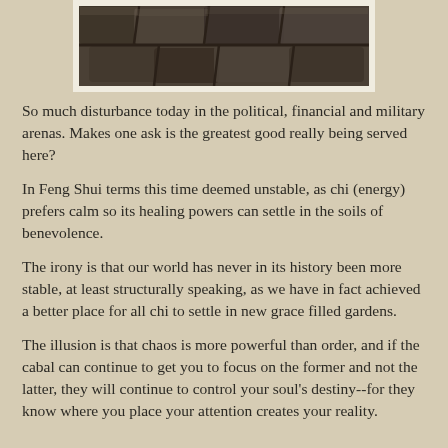[Figure (photo): Partial photo of stone or rock texture, shown at top of page inside a white-bordered frame]
So much disturbance today in the political, financial and military arenas.  Makes one ask is the greatest good really being served here?
In Feng Shui terms this time deemed unstable, as chi (energy) prefers calm so its healing powers can settle in the soils of benevolence.
The irony is that our world has never in its history been more stable, at least structurally speaking, as we have in fact achieved a better place for all chi to settle in new grace filled gardens.
The illusion is that chaos is more powerful than order, and if the cabal can continue to get you to focus on the former and not the latter, they will continue to control your soul's destiny--for they know where you place your attention creates your reality.